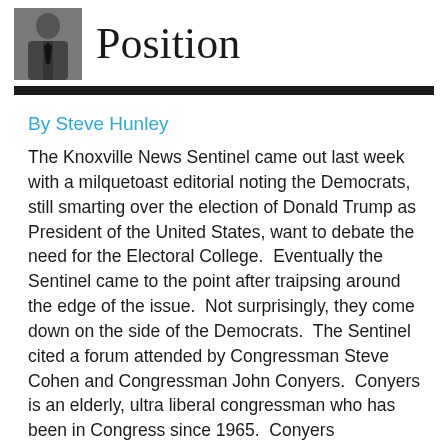Position
By Steve Hunley
The Knoxville News Sentinel came out last week with a milquetoast editorial noting the Democrats, still smarting over the election of Donald Trump as President of the United States, want to debate the need for the Electoral College.  Eventually the Sentinel came to the point after traipsing around the edge of the issue.  Not surprisingly, they come down on the side of the Democrats.  The Sentinel cited a forum attended by Congressman Steve Cohen and Congressman John Conyers.  Conyers is an elderly, ultra liberal congressman who has been in Congress since 1965.  Conyers